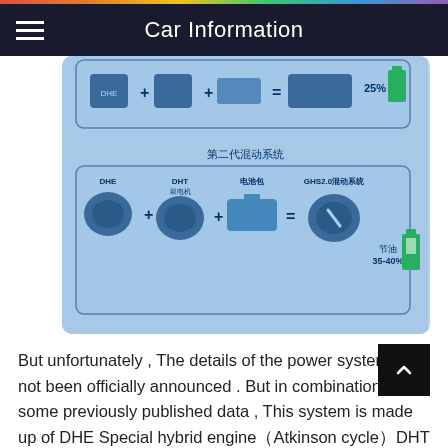Car Information
[Figure (infographic): A blue-tinted infographic showing two generations of hybrid drive systems. First generation row shows components with 25% fuel saving. Second generation row labeled '第二代混动系统' shows DHE engine + DHT dual motor (双电机) + 电池包 (battery pack) = GHS2.0混动系统, achieving 节油35-40% fuel saving, illustrated with a green fuel pump icon.]
But unfortunately , The details of the power system have not been officially announced . But in combination with some previously published data , This system is made up of DHE Special hybrid engine（Atkinson cycle）DHT The utility model is composed of a double motor and a power battery pack .